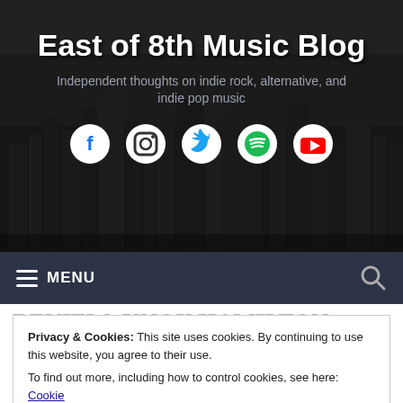[Figure (screenshot): Website header banner with city skyline background in dark grayscale, showing blog title, subtitle, and social media icons]
East of 8th Music Blog
Independent thoughts on indie rock, alternative, and indie pop music
≡ MENU
Privacy & Cookies: This site uses cookies. By continuing to use this website, you agree to their use. To find out more, including how to control cookies, see here: Cookie Policy
REVIEW: KNOX HAMILTON at THE EVENING MUSE on 10/18/14